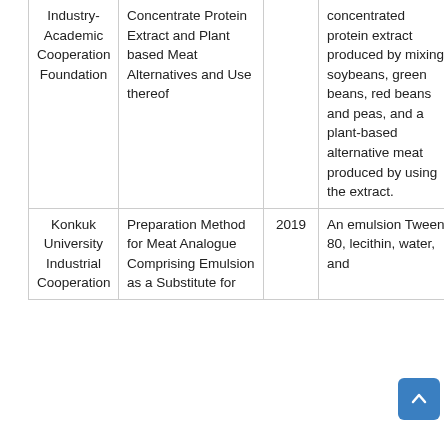| Funder/Assignee | Title | Year | Description |
| --- | --- | --- | --- |
| Industry-Academic Cooperation Foundation | Concentrate Protein Extract and Plant based Meat Alternatives and Use thereof |  | concentrated protein extract produced by mixing soybeans, green beans, red beans and peas, and a plant-based alternative meat produced by using the extract. |
| Konkuk University Industrial Cooperation | Preparation Method for Meat Analogue Comprising Emulsion as a Substitute for | 2019 | An emulsion Tween 80, lecithin, water, and |